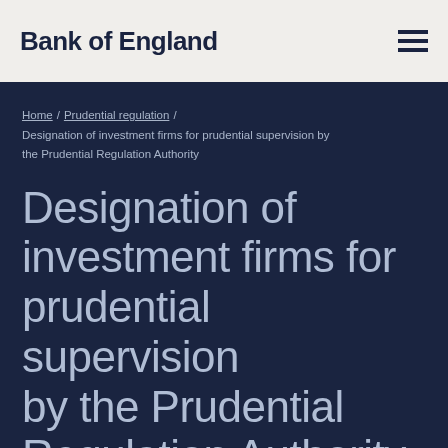Bank of England
Home / Prudential regulation / Designation of investment firms for prudential supervision by the Prudential Regulation Authority
Designation of investment firms for prudential supervision by the Prudential Regulation Authority